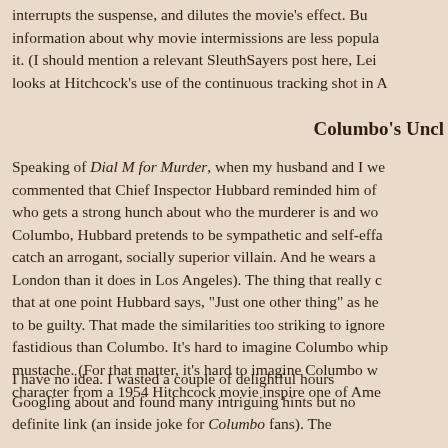interrupts the suspense, and dilutes the movie's effect. But information about why movie intermissions are less popular it. (I should mention a relevant SleuthSayers post here, Lei looks at Hitchcock's use of the continuous tracking shot in A
Columbo's Uncl
Speaking of Dial M for Murder, when my husband and I we commented that Chief Inspector Hubbard reminded him of who gets a strong hunch about who the murderer is and wo Columbo, Hubbard pretends to be sympathetic and self-effa catch an arrogant, socially superior villain. And he wears a London than it does in Los Angeles). The thing that really c that at one point Hubbard says, "Just one other thing" as he to be guilty. That made the similarities too striking to ignore fastidious than Columbo. It's hard to imagine Columbo whip mustache. (For that matter, it's hard to imagine Columbo w character from a 1954 Hitchcock movie inspire one of Ame
I have no idea. I wasted a couple of delightful hours Googling about and found many intriguing hints but no definite link (an inside joke for Columbo fans). The